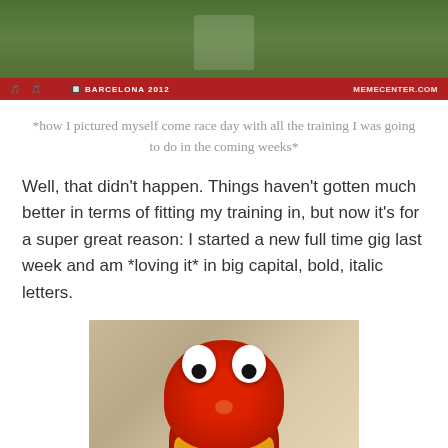[Figure (photo): Photo of athletes at Barcelona 2012 event with MEMECENTER.COM watermark, red banner at bottom]
*how I pictured myself come race day with all the training I was going to do in the coming weeks*
Well, that didn't happen. Things haven't gotten much better in terms of fitting my training in, but now it's for a super great reason: I started a new full time gig last week and am *loving it* in big capital, bold, italic letters.
[Figure (photo): Photo of Elmo (red Sesame Street muppet) wearing a yellow outfit, sitting down, looking contemplative]